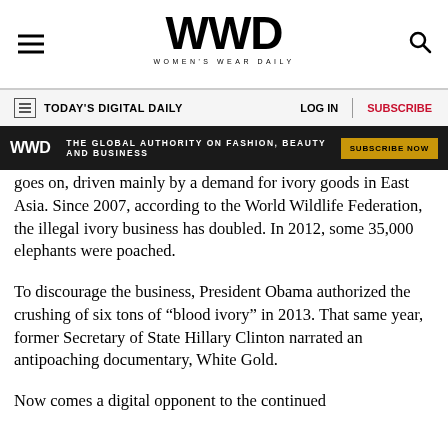WWD — Women's Wear Daily
TODAY'S DIGITAL DAILY | LOG IN | SUBSCRIBE
WWD — THE GLOBAL AUTHORITY ON FASHION, BEAUTY AND BUSINESS — SUBSCRIBE NOW
goes on, driven mainly by a demand for ivory goods in East Asia. Since 2007, according to the World Wildlife Federation, the illegal ivory business has doubled. In 2012, some 35,000 elephants were poached.
To discourage the business, President Obama authorized the crushing of six tons of “blood ivory” in 2013. That same year, former Secretary of State Hillary Clinton narrated an antipoaching documentary, White Gold.
Now comes a digital opponent to the continued